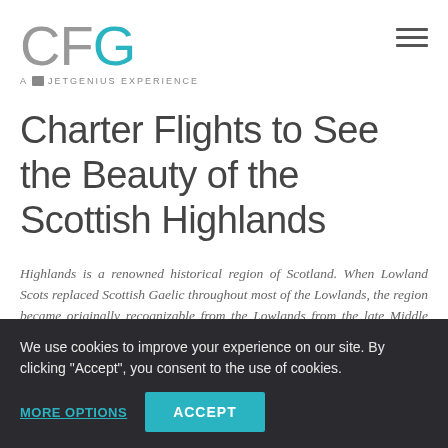CFG — A JETGENIUS EXPERIENCE
Charter Flights to See the Beauty of the Scottish Highlands
Highlands is a renowned historical region of Scotland. When Lowland Scots replaced Scottish Gaelic throughout most of the Lowlands, the region became originally recognizable from the Lowlands from the late Middle Ages to the modern period. The
We use cookies to improve your experience on our site. By clicking "Accept", you consent to the use of cookies.
MORE OPTIONS   ACCEPT